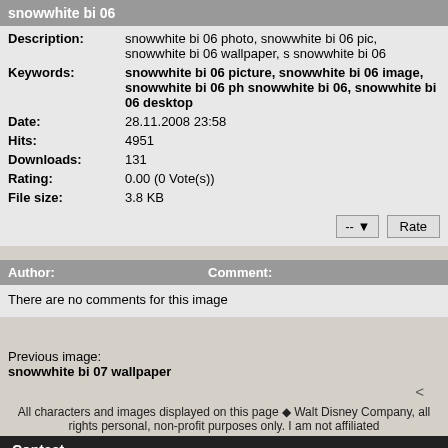snowwhite bi 06
| Description: | snowwhite bi 06 photo, snowwhite bi 06 pic, snowwhite bi 06 wallpaper, snowwhite bi 06 |
| Keywords: | snowwhite bi 06 picture, snowwhite bi 06 image, snowwhite bi 06 ph... snowwhite bi 06, snowwhite bi 06 desktop |
| Date: | 28.11.2008 23:58 |
| Hits: | 4951 |
| Downloads: | 131 |
| Rating: | 0.00 (0 Vote(s)) |
| File size: | 3.8 KB |
-- Rate
Author: Comment:
There are no comments for this image
Previous image:
snowwhite bi 07 wallpaper
<
All characters and images displayed on this page ◆ Walt Disney Company, all rights personal, non-profit purposes only. I am not affiliated
Contact
Also You can find Yacht Pictures , Disney Pictures, Cartoon Pict